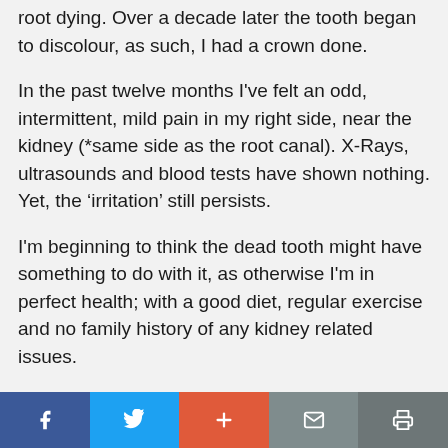root dying. Over a decade later the tooth began to discolour, as such, I had a crown done.
In the past twelve months I've felt an odd, intermittent, mild pain in my right side, near the kidney (*same side as the root canal). X-Rays, ultrasounds and blood tests have shown nothing. Yet, the 'irritation' still persists.
I'm beginning to think the dead tooth might have something to do with it, as otherwise I'm in perfect health; with a good diet, regular exercise and no family history of any kidney related issues.
Reading all this new 'anti root canal' stuff is fast
Facebook | Twitter | + | Mail | Print